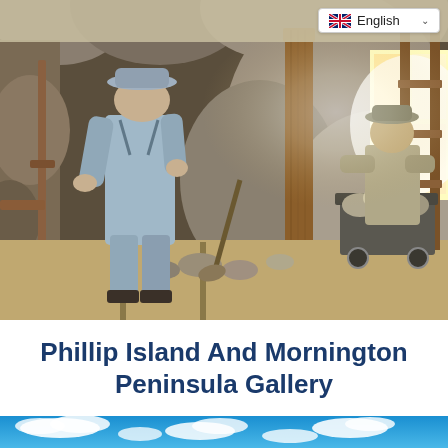[Figure (photo): Interior of a museum exhibit showing two life-sized mannequins dressed as miners working in a simulated mine tunnel with rock walls, a wooden support post, mining cart filled with rocks, and tools including a shovel. A bright light shines from a window in the background right.]
Phillip Island And Mornington Peninsula Gallery
[Figure (photo): Bottom strip showing a blue sky with white clouds.]